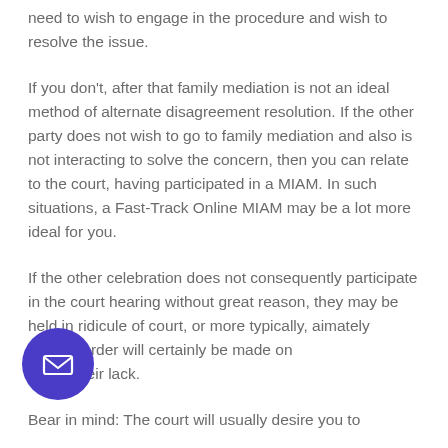need to wish to engage in the procedure and wish to resolve the issue.
If you don't, after that family mediation is not an ideal method of alternate disagreement resolution. If the other party does not wish to go to family mediation and also is not interacting to solve the concern, then you can relate to the court, having participated in a MIAM. In such situations, a Fast-Track Online MIAM may be a lot more ideal for you.
If the other celebration does not consequently participate in the court hearing without great reason, they may be held in ridicule of court, or more typically, a ultimately binding order will certainly be made on nce in their lack.
Bear in mind: The court will usually desire you to